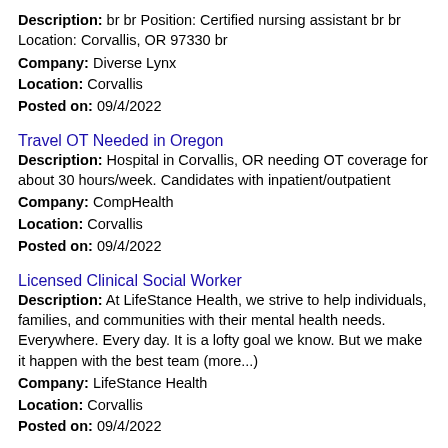Description: br br Position: Certified nursing assistant br br Location: Corvallis, OR 97330 br
Company: Diverse Lynx
Location: Corvallis
Posted on: 09/4/2022
Travel OT Needed in Oregon
Description: Hospital in Corvallis, OR needing OT coverage for about 30 hours/week. Candidates with inpatient/outpatient
Company: CompHealth
Location: Corvallis
Posted on: 09/4/2022
Licensed Clinical Social Worker
Description: At LifeStance Health, we strive to help individuals, families, and communities with their mental health needs. Everywhere. Every day. It is a lofty goal we know. But we make it happen with the best team (more...)
Company: LifeStance Health
Location: Corvallis
Posted on: 09/4/2022
Travel OR Tech - Corvallis, OR
Description: Travel Nursing: OR CorvallisLocation: - - - - - - - - -